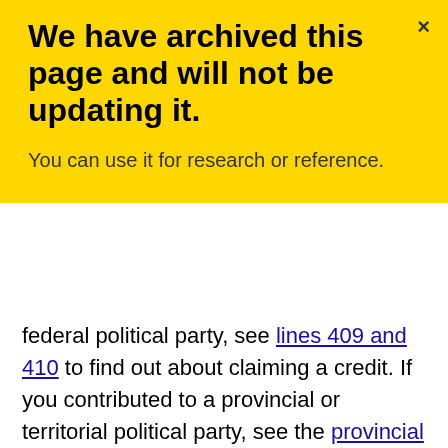We have archived this page and will not be updating it.
You can use it for research or reference.
federal political party, see lines 409 and 410 to find out about claiming a credit. If you contributed to a provincial or territorial political party, see the provincial or territorial forms to find out about claiming a credit. If you are a resident of Quebec, refer to your